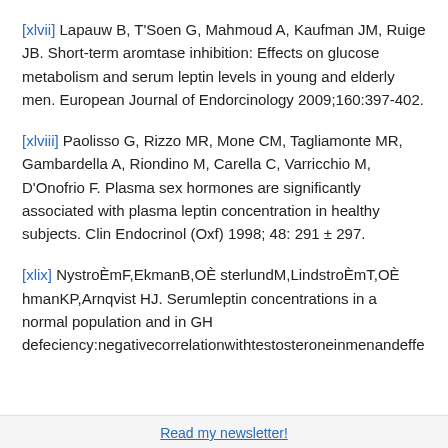[xlvii] Lapauw B, T'Soen G, Mahmoud A, Kaufman JM, Ruige JB. Short-term aromtase inhibition: Effects on glucose metabolism and serum leptin levels in young and elderly men. European Journal of Endorcinology 2009;160:397-402.
[xlviii] Paolisso G, Rizzo MR, Mone CM, Tagliamonte MR, Gambardella A, Riondino M, Carella C, Varricchio M, D'Onofrio F. Plasma sex hormones are significantly associated with plasma leptin concentration in healthy subjects. Clin Endocrinol (Oxf) 1998; 48: 291 ± 297.
[xlix] NystroÈmF,EkmanB,OÈ sterlundM,LindstroÈmT,OÈ hmanKP,Arnqvist HJ. Serumleptin concentrations in a normal population and in GH defeciency:negativecorrelationwithtestosteroneinmenandeffe
Read my newsletter!